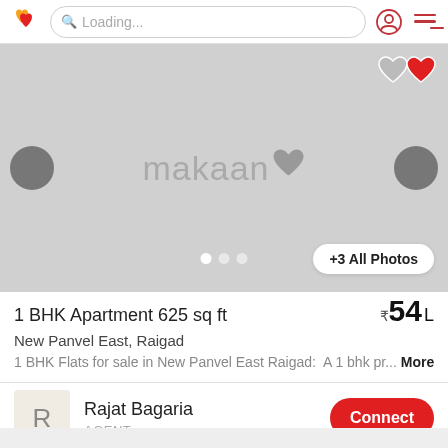Loading...
[Figure (screenshot): Property listing image placeholder with makaan logo watermark, carousel navigation arrows, dots, and +3 All Photos button]
1 BHK Apartment 625 sq ft
₹54 L
New Panvel East, Raigad
1 BHK Flats for sale in New Panvel East Raigad:  A 1 bhk pr... More
Rajat Bagaria
AGENT
Connect